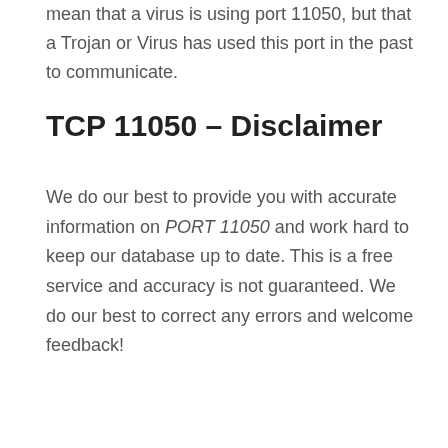mean that a virus is using port 11050, but that a Trojan or Virus has used this port in the past to communicate.
TCP 11050 – Disclaimer
We do our best to provide you with accurate information on PORT 11050 and work hard to keep our database up to date. This is a free service and accuracy is not guaranteed. We do our best to correct any errors and welcome feedback!